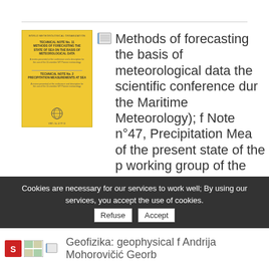[Figure (illustration): Yellow WMO book cover showing two technical notes about methods of forecasting sea state and precipitation measurements at sea]
Methods of forecasting the state of the sea on the basis of meteorological data (papers presented at the scientific conference during the sixth session of the Maritime Meteorology); followed by Technical Note n°47, Precipitation Measurements at Sea (a review of the present state of the problem, prepared by a working group of the Commission for Maritime Meteorology)
World Meteorological Organization (WMO) - WMO, 19...
English
Cookies are necessary for our services to work well; By using our services, you accept the use of cookies.